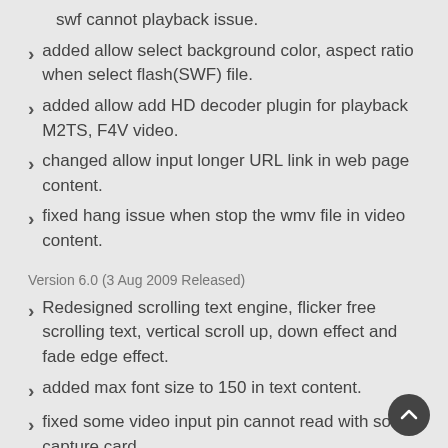swf cannot playback issue.
added allow select background color, aspect ratio when select flash(SWF) file.
added allow add HD decoder plugin for playback M2TS, F4V video.
changed allow input longer URL link in web page content.
fixed hang issue when stop the wmv file in video content.
Version 6.0 (3 Aug 2009 Released)
Redesigned scrolling text engine, flicker free scrolling text, vertical scroll up, down effect and fade edge effect.
added max font size to 150 in text content.
fixed some video input pin cannot read with some capture card.